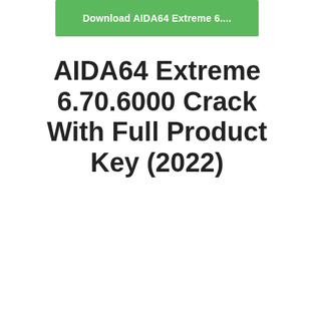[Figure (other): Green button/banner with text 'Download AIDA64 Extreme 6....']
AIDA64 Extreme 6.70.6000 Crack With Full Product Key (2022)